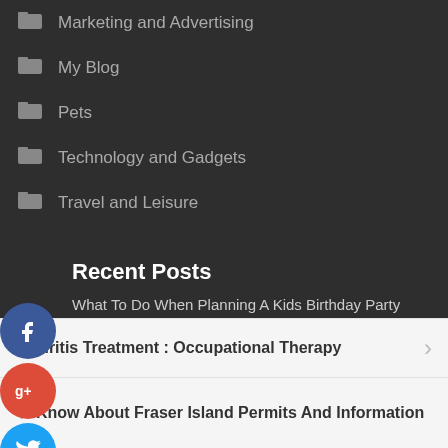Marketing and Advertising
My Blog
Pets
Technology and Gadgets
Travel and Leisure
Recent Posts
What To Do When Planning A Kids Birthday Party
Prostatitis Antibiotics Versus Natural Prostate Supplements
What Is A Spinal Cord Stimulator, And What Are The Benefits Of
Arthritis Treatment : Occupational Therapy
Know About Fraser Island Permits And Information